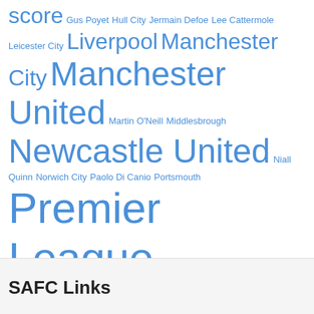score Gus Poyet Hull City Jermain Defoe Lee Cattermole Leicester City Liverpool Manchester City Manchester United Martin O'Neill Middlesbrough Newcastle United Niall Quinn Norwich City Paolo Di Canio Portsmouth Premier League Rob Hutchison SAFC Salut Sunderland Sam Allardyce Southampton Steve Bruce Stoke City Sunderland Sunderland A.F.C Sunderland A.F.C. Swansea City West Bromwich Albion West Ham United Who Are You? Wolverhampton Wanderers
SAFC Links